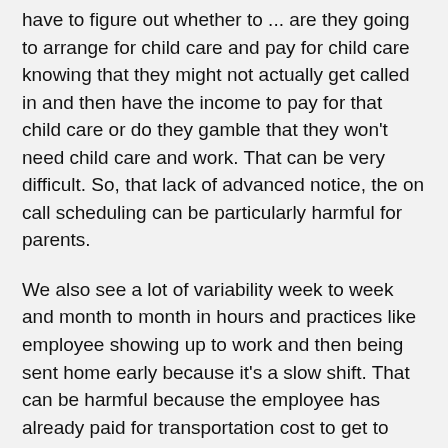have to figure out whether to ... are they going to arrange for child care and pay for child care knowing that they might not actually get called in and then have the income to pay for that child care or do they gamble that they won't need child care and work. That can be very difficult. So, that lack of advanced notice, the on call scheduling can be particularly harmful for parents.
We also see a lot of variability week to week and month to month in hours and practices like employee showing up to work and then being sent home early because it's a slow shift. That can be harmful because the employee has already paid for transportation cost to get to work. They've already paid for child care and now they're not getting the income that they were expecting. So, they might end up actually spending more in that shift than earning.
Another practice is clopening where an employee is scheduled to work the closing shift and then the opening